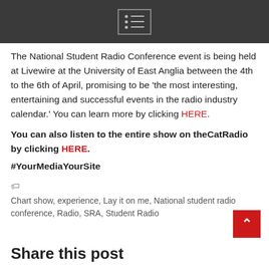Navigation menu icon
The National Student Radio Conference event is being held at Livewire at the University of East Anglia between the 4th to the 6th of April, promising to be 'the most interesting, entertaining and successful events in the radio industry calendar.' You can learn more by clicking HERE.
You can also listen to the entire show on theCatRadio by clicking HERE.
#YourMediaYourSite
Chart show, experience, Lay it on me, National student radio conference, Radio, SRA, Student Radio
Share this post